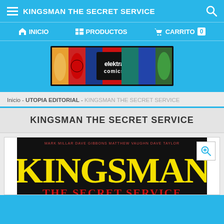KINGSMAN THE SECRET SERVICE
INICIO   PRODUCTOS   CARRITO 0
[Figure (logo): Elektra Comics banner logo with superheroes including Spider-Man, Superman, Hulk, and others on red background]
Inicio - UTOPIA EDITORIAL - KINGSMAN THE SECRET SERVICE
KINGSMAN THE SECRET SERVICE
[Figure (photo): Kingsman The Secret Service comic book cover with yellow KINGSMAN text on black background and red THE SECRET SERVICE subtitle text]